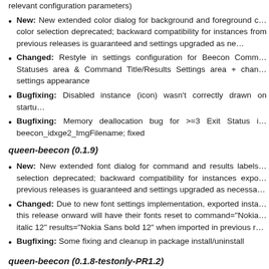relevant configuration parameters)
New: New extended color dialog for background and foreground color selection deprecated; backward compatibility for instances from previous releases is guaranteed and settings upgraded as ne...
Changed: Restyle in settings configuration for Beecon Comm... Statuses area & Command Title/Results Settings area + chan... settings appearance
Bugfixing: Disabled instance (icon) wasn't correctly drawn on startu...
Bugfixing: Memory deallocation bug for >=3 Exit Status i... beecon_idxge2_ImgFilename; fixed
queen-beecon (0.1.9)
New: New extended font dialog for command and results labels... selection deprecated; backward compatibility for instances expo... previous releases is guaranteed and settings upgraded as necessa...
Changed: Due to new font settings implementation, exported insta... this release onward will have their fonts reset to command="Nokia... italic 12" results="Nokia Sans bold 12" when imported in previous r...
Bugfixing: Some fixing and cleanup in package install/uninstall
queen-beecon (0.1.8-testonly-PR1.2)
WARNING This release is for testing purposes only as PR1.2... beecon instabilities which need foran attention...